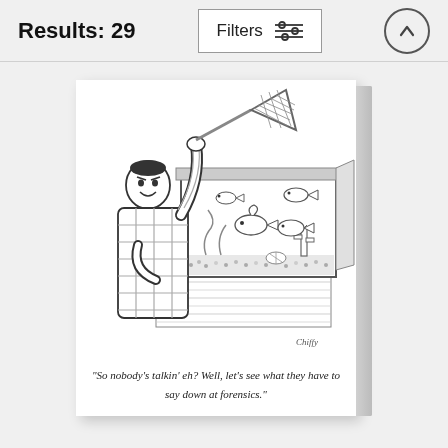Results: 29
[Figure (illustration): New Yorker style cartoon printed on a canvas-wrapped print: A man in a plaid shirt holds a fish net above an aquarium, looking at fish inside. The aquarium contains fish, a cactus decoration, shells, and gravel. Artist signature 'Chiffy' visible at bottom right of cartoon.]
'So nobody's talkin' eh? Well, let's see what they have to say down at forensics.'